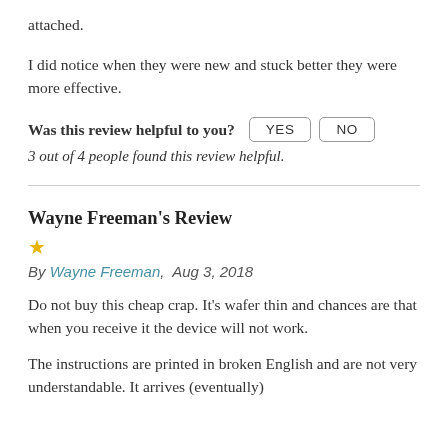attached.
I did notice when they were new and stuck better they were more effective.
Was this review helpful to you?  YES  NO
3 out of 4 people found this review helpful.
Wayne Freeman's Review
★
By Wayne Freeman,  Aug 3, 2018
Do not buy this cheap crap. It's wafer thin and chances are that when you receive it the device will not work.
The instructions are printed in broken English and are not very understandable. It arrives (eventually)